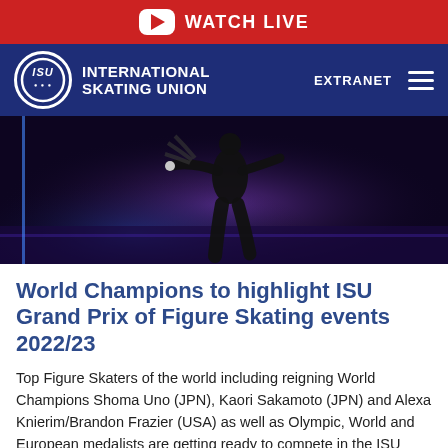WATCH LIVE
ISU INTERNATIONAL SKATING UNION  EXTRANET
[Figure (photo): Figure skater in black costume performing on ice against purple and blue stage lighting background]
World Champions to highlight ISU Grand Prix of Figure Skating events 2022/23
Top Figure Skaters of the world including reigning World Champions Shoma Uno (JPN), Kaori Sakamoto (JPN) and Alexa Knierim/Brandon Frazier (USA) as well as Olympic, World and European medalists are getting ready to compete in the ISU Grand Prix of Figure Skating Series 2022/23 in the post-Olympic season when accomplished Skaters meet the up and